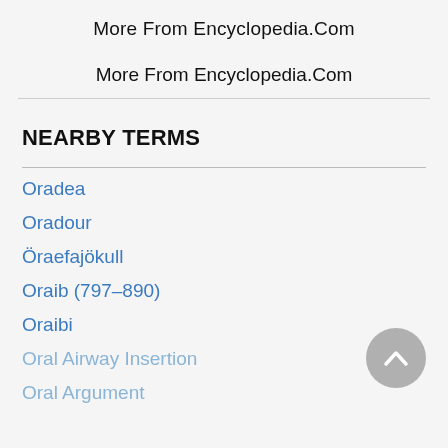More From Encyclopedia.Com
More From Encyclopedia.Com
NEARBY TERMS
Oradea
Oradour
Öraefajökull
Oraib (797–890)
Oraibi
Oral Airway Insertion
Oral Argument